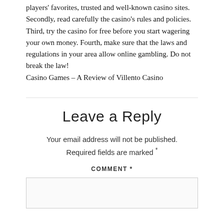players' favorites, trusted and well-known casino sites. Secondly, read carefully the casino's rules and policies. Third, try the casino for free before you start wagering your own money. Fourth, make sure that the laws and regulations in your area allow online gambling. Do not break the law!
Casino Games – A Review of Villento Casino
Leave a Reply
Your email address will not be published. Required fields are marked *
COMMENT *